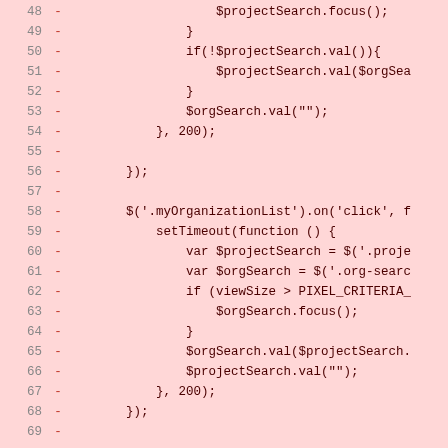[Figure (screenshot): Code diff view showing deleted lines (marked with minus sign) of JavaScript code, lines 48-69, on a pink/red background indicating removed code. The code involves jQuery event handlers for project search and organization search functionality.]